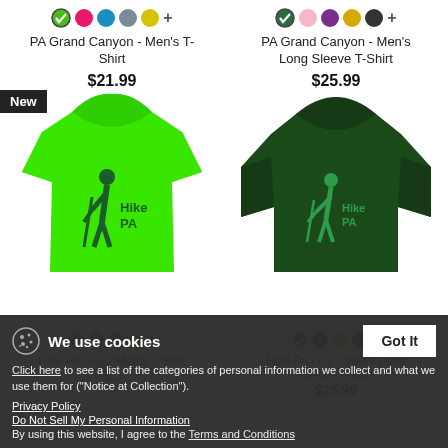[Figure (other): Color swatches for PA Grand Canyon Men's T-Shirt: green (checked), pink, blue, gray, yellow, plus sign]
[Figure (other): Color swatches for PA Grand Canyon Men's Long Sleeve T-Shirt: green (checked), pink, purple, yellow, dark gray, plus sign]
PA Grand Canyon - Men's T-Shirt
PA Grand Canyon - Men's Long Sleeve T-Shirt
$21.99
$25.99
[Figure (photo): Bright green men's t-shirt with hiker silhouette and 'Hike PA' text. New badge in top left corner.]
[Figure (photo): Dark green men's long sleeve t-shirt with hiker silhouette and 'Hike PA' text.]
[Figure (other): Color swatches for Hike PA Guy Men's T-Shirt (partially visible behind cookie banner)]
[Figure (other): Color swatches for Hike PA Guy Men's Long Sleeve T-Shirt (partially visible behind cookie banner)]
Hike PA Guy - Men's T-Shirt
Hike PA Guy - Men's Long Sleeve T-Shirt
$25.99
We use cookies
Click here to see a list of the categories of personal information we collect and what we use them for ("Notice at Collection").
Privacy Policy
Do Not Sell My Personal Information
By using this website, I agree to the Terms and Conditions